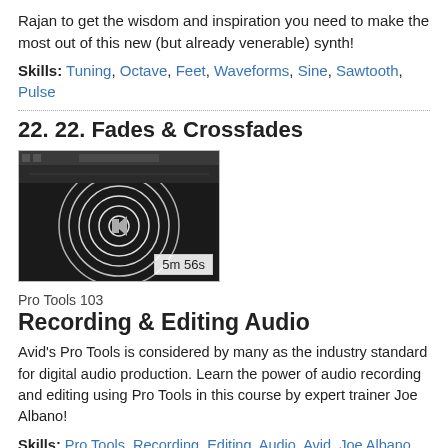Rajan to get the wisdom and inspiration you need to make the most out of this new (but already venerable) synth!
Skills: Tuning, Octave, Feet, Waveforms, Sine, Sawtooth, Pulse
22. 22. Fades & Crossfades
[Figure (screenshot): Video thumbnail showing audio waveform with circular ripple graphic, duration badge showing 5m 56s]
Pro Tools 103
Recording & Editing Audio
Avid's Pro Tools is considered by many as the industry standard for digital audio production. Learn the power of audio recording and editing using Pro Tools in this course by expert trainer Joe Albano!
Skills: Pro Tools, Recording, Editing, Audio, Avid, Joe Albano, Audio, Edit, Waveform Discontinuity, Click, Zero-Crossing, Fade, Crossfade, Batch Fade
6. 6. Browser
[Figure (screenshot): Video thumbnail at bottom of page, partially visible]